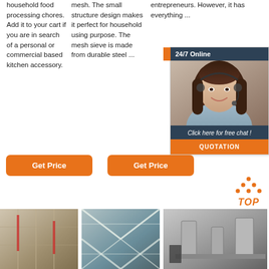household food processing chores. Add it to your cart if you are in search of a personal or commercial based kitchen accessory.
mesh. The small structure design makes it perfect for household using purpose. The mesh sieve is made from durable steel ...
entrepreneurs. However, it has everything ...
[Figure (photo): Online support widget showing a woman with a headset, dark background header '24/7 Online', footer text 'Click here for free chat!', and orange QUOTATION button]
Get Price
Get Price
[Figure (logo): TOP icon with orange dots arranged in a triangle above the word TOP in orange italic bold text]
[Figure (photo): Industrial flour milling equipment interior photo]
[Figure (photo): Exterior industrial structure with metal framework photo]
[Figure (photo): Industrial machinery equipment photo]